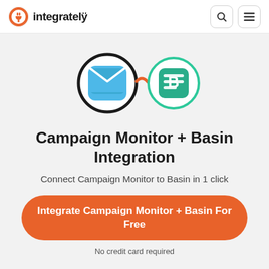[Figure (logo): Integrately logo with plug icon and wordmark]
[Figure (illustration): Campaign Monitor (blue envelope icon in black circle) connected via orange arrows to Basin (green document icon in green circle)]
Campaign Monitor + Basin Integration
Connect Campaign Monitor to Basin in 1 click
Integrate Campaign Monitor + Basin For Free
No credit card required